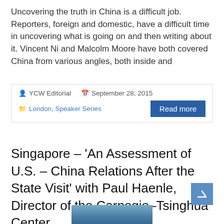Uncovering the truth in China is a difficult job. Reporters, foreign and domestic, have a difficult time in uncovering what is going on and then writing about it. Vincent Ni and Malcolm Moore have both covered China from various angles, both inside and
YCW Editorial   September 28, 2015   London, Speaker Series
Read more
Singapore – ‘An Assessment of U.S. – China Relations After the State Visit’ with Paul Haenle, Director of the Carnegie–Tsinghua Center
[Figure (photo): Partial photo of a person visible at the bottom of the page]